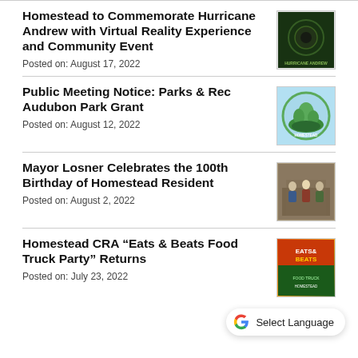Homestead to Commemorate Hurricane Andrew with Virtual Reality Experience and Community Event
Posted on: August 17, 2022
Public Meeting Notice: Parks & Rec Audubon Park Grant
Posted on: August 12, 2022
Mayor Losner Celebrates the 100th Birthday of Homestead Resident
Posted on: August 2, 2022
Homestead CRA “Eats & Beats Food Truck Party” Returns
Posted on: July 23, 2022